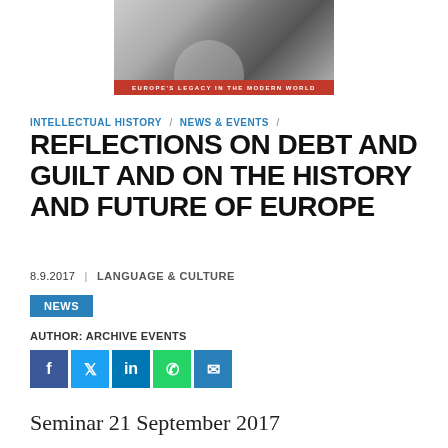[Figure (photo): Black and white photo of a crowd/audience with a red banner reading EUROPE'S LEGACY IN THE MODERN WORLD]
INTELLECTUAL HISTORY / NEWS & EVENTS /
REFLECTIONS ON DEBT AND GUILT AND ON THE HISTORY AND FUTURE OF EUROPE
8.9.2017  |  LANGUAGE & CULTURE
NEWS
AUTHOR: ARCHIVE EVENTS
[Figure (other): Social media share buttons: Facebook, Twitter, LinkedIn, WhatsApp, Email]
Seminar 21 September 2017